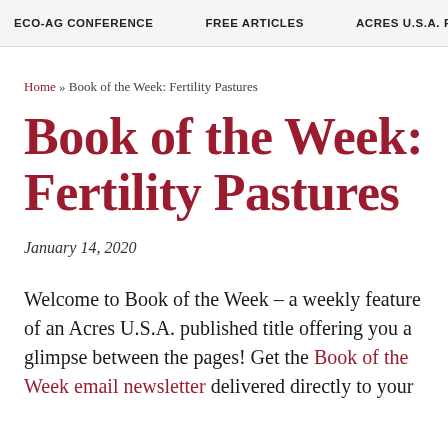ECO-AG CONFERENCE   FREE ARTICLES   ACRES U.S.A. PODCA
Home » Book of the Week: Fertility Pastures
Book of the Week: Fertility Pastures
January 14, 2020
Welcome to Book of the Week – a weekly feature of an Acres U.S.A. published title offering you a glimpse between the pages! Get the Book of the Week email newsletter delivered directly to your